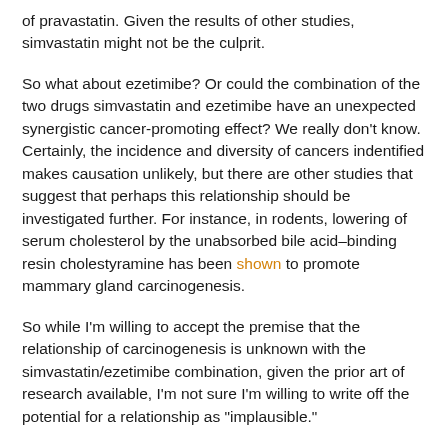of pravastatin. Given the results of other studies, simvastatin might not be the culprit.
So what about ezetimibe? Or could the combination of the two drugs simvastatin and ezetimibe have an unexpected synergistic cancer-promoting effect? We really don't know. Certainly, the incidence and diversity of cancers indentified makes causation unlikely, but there are other studies that suggest that perhaps this relationship should be investigated further. For instance, in rodents, lowering of serum cholesterol by the unabsorbed bile acid–binding resin cholestyramine has been shown to promote mammary gland carcinogenesis.
So while I'm willing to accept the premise that the relationship of carcinogenesis is unknown with the simvastatin/ezetimibe combination, given the prior art of research available, I'm not sure I'm willing to write off the potential for a relationship as "implausible."
-Wes